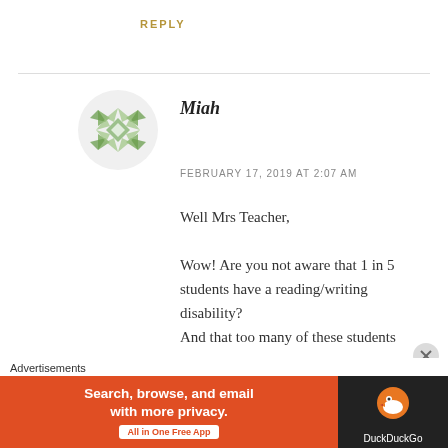REPLY
Miah
FEBRUARY 17, 2019 AT 2:07 AM
Well Mrs Teacher,

Wow! Are you not aware that 1 in 5 students have a reading/writing disability?
And that too many of these students
Advertisements
[Figure (other): DuckDuckGo advertisement banner: orange background with text 'Search, browse, and email with more privacy. All in One Free App' and DuckDuckGo logo on dark background]